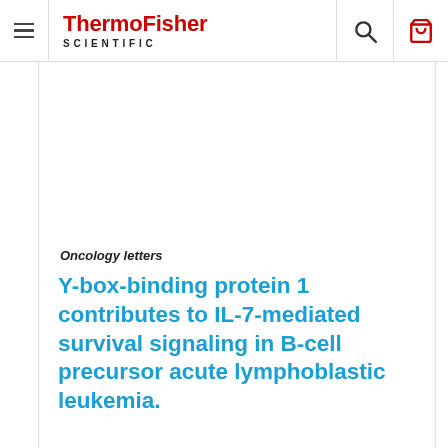ThermoFisher SCIENTIFIC
Oncology letters
Y-box-binding protein 1 contributes to IL-7-mediated survival signaling in B-cell precursor acute lymphoblastic leukemia.